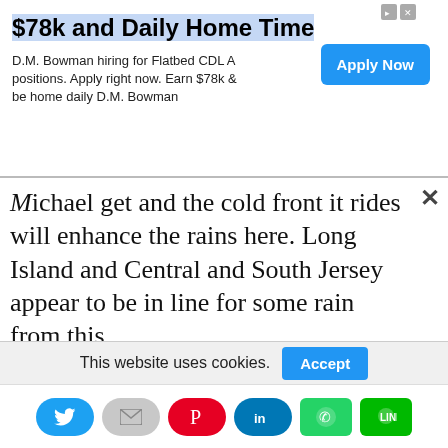[Figure (infographic): Advertisement banner: '$78k and Daily Home Time' - D.M. Bowman hiring for Flatbed CDL A positions. Apply right now. Earn $78k & be home daily D.M. Bowman. Blue 'Apply Now' button on the right.]
Michael get and the cold front it rides will enhance the rains here. Long Island and Central and South Jersey appear to be in line for some rain from this.
[Figure (map): NAM-12km Total Accumulated Precipitation (inches) from 12z10Oct2018 to 06z12Oct2018. Init: 12z Oct 10 2018 Forecast Hour: [42] valid at 06z Fri, Oct 12 2018. TROPICALTIDBITS.COM. Weather map showing precipitation over northeastern US with color scale from 3 to 28 inches. A yellow arrow/line is visible on the map.]
This website uses cookies.
[Figure (infographic): Social sharing buttons: Twitter (blue), Email (gray), Pinterest (red), LinkedIn (blue), WhatsApp (green), LINE (green)]